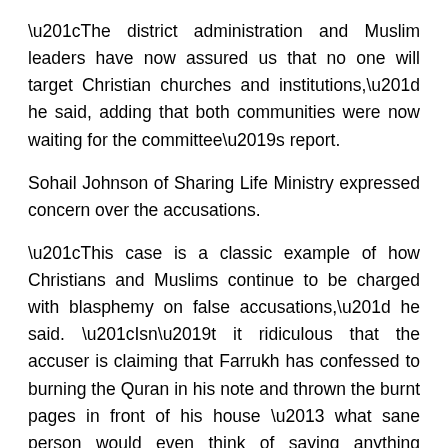“The district administration and Muslim leaders have now assured us that no one will target Christian churches and institutions,” he said, adding that both communities were now waiting for the committee’s report.
Sohail Johnson of Sharing Life Ministry expressed concern over the accusations.
“This case is a classic example of how Christians and Muslims continue to be charged with blasphemy on false accusations,” he said. “Isn’t it ridiculous that the accuser is claiming that Farrukh has confessed to burning the Quran in his note and thrown the burnt pages in front of his house – what sane person would even think of saying anything against prophet Muhammad in a country where passions run so deep?”
Asif Mani, the f…